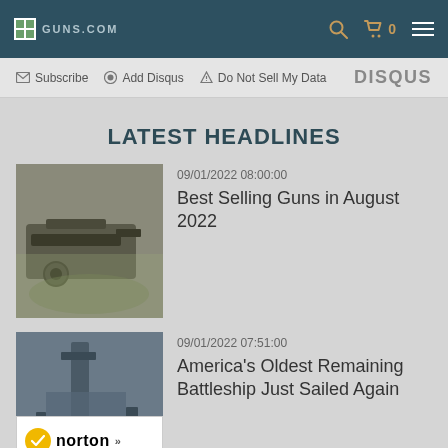GUNS.COM — navigation bar with search, cart (0), and hamburger menu
Subscribe  Add Disqus  Do Not Sell My Data    DISQUS
LATEST HEADLINES
09/01/2022 08:00:00
Best Selling Guns in August 2022
[Figure (photo): Photo of firearms/guns on a tactical surface]
09/01/2022 07:51:00
America's Oldest Remaining Battleship Just Sailed Again
[Figure (photo): Photo of a battleship at sea]
[Figure (logo): Norton Shopping Guarantee badge with verifying... text]